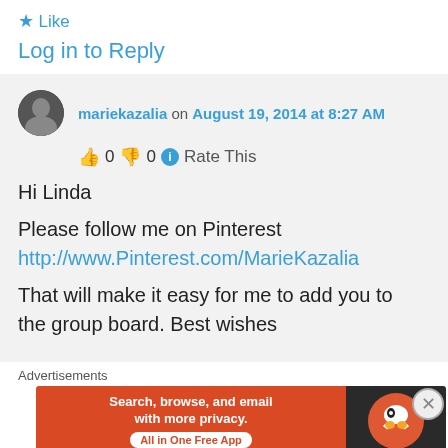★ Like
Log in to Reply
mariekazalia on August 19, 2014 at 8:27 AM
👍 0 👎 0 ℹ Rate This
Hi Linda

Please follow me on Pinterest
http://www.Pinterest.com/MarieKazalia

That will make it easy for me to add you to the group board. Best wishes
Advertisements
[Figure (screenshot): DuckDuckGo advertisement banner: orange background with text 'Search, browse, and email with more privacy. All in One Free App' and DuckDuckGo duck logo on dark background]